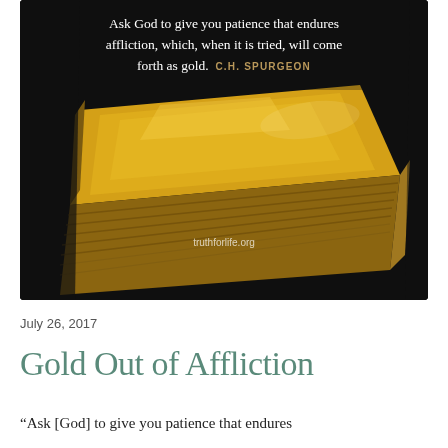[Figure (photo): A gold bar (bullion) photographed close-up on a dark background, with a quote overlaid at the top reading 'Ask God to give you patience that endures affliction, which, when it is tried, will come forth as gold. C.H. SPURGEON' and a watermark 'truthforlife.org' near the bottom.]
July 26, 2017
Gold Out of Affliction
“Ask [God] to give you patience that endures